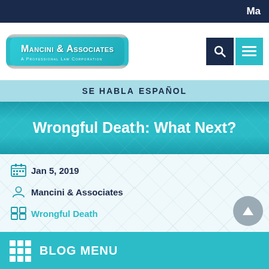Ma
[Figure (logo): Mancini & Associates A Professional Law Corporation logo badge with teal background and silver border]
SE HABLA ESPAÑOL
Wrongful Death: What Next?
Jan 5, 2019
Mancini & Associates
Wrongful Death
BLOG MENU